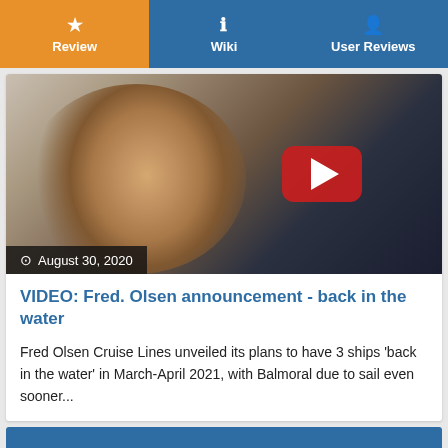Review | Wiki | User Reviews
[Figure (screenshot): Video thumbnail showing a man smiling, with a YouTube play button overlay and date label 'August 30, 2020']
VIDEO: Fred. Olsen announcement - back in the water
Fred Olsen Cruise Lines unveiled its plans to have 3 ships 'back in the water' in March-April 2021, with Balmoral due to sail even sooner...
[Figure (photo): Partial blue image at bottom of page]